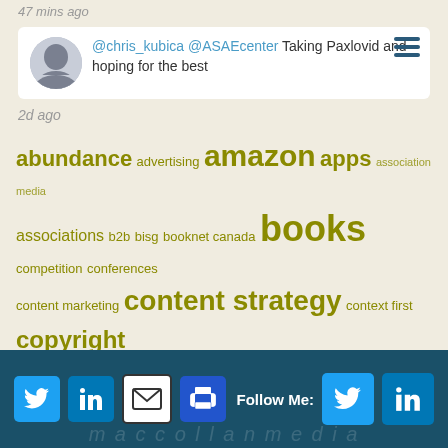47 mins ago
@chris_kubica @ASAEcenter Taking Paxlovid and hoping for the best
2d ago
[Figure (infographic): Tag cloud with terms related to publishing and media industry in olive/yellow-green color at various sizes: abundance, advertising, amazon, apps, association media, associations, b2b, bisg, booknet canada, books, competition, conferences, content marketing, content strategy, context first, copyright, curation, disruption, drm, ebooks, innovation, journalism, libraries, magazines, metadata, mobile, mpa, must read, newspapers, niche, paid content, patry, piracy, pod, presentations, price, private equity, strategy, subscription, supply chain, toc, twitter, venture capital, workflow, xml]
[Figure (infographic): Footer bar with social media icon buttons (Twitter, LinkedIn, Email, Print) on left and Follow Me section with Twitter and LinkedIn buttons on right. Background is dark teal/navy. Faint watermark text at bottom.]